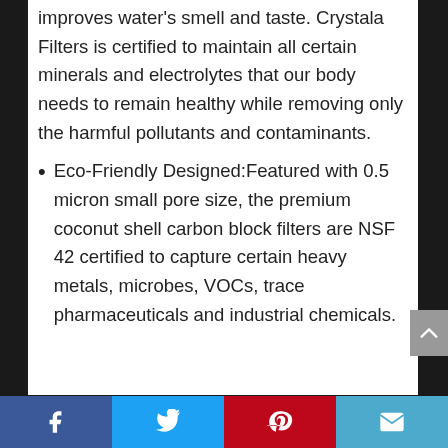improves water's smell and taste. Crystala Filters is certified to maintain all certain minerals and electrolytes that our body needs to remain healthy while removing only the harmful pollutants and contaminants.
Eco-Friendly Designed:Featured with 0.5 micron small pore size, the premium coconut shell carbon block filters are NSF 42 certified to capture certain heavy metals, microbes, VOCs, trace pharmaceuticals and industrial chemicals.
Social share bar: Facebook, Twitter, Pinterest, Email